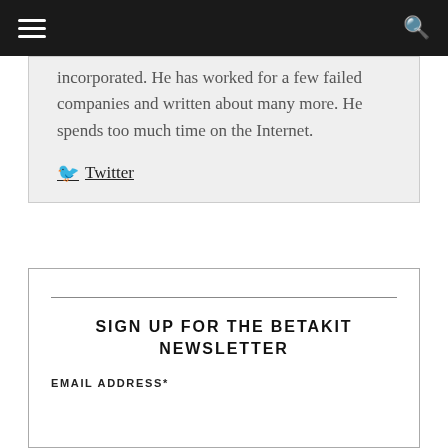Navigation bar with hamburger menu and search icon
incorporated. He has worked for a few failed companies and written about many more. He spends too much time on the Internet.
Twitter
SIGN UP FOR THE BETAKIT NEWSLETTER
EMAIL ADDRESS*